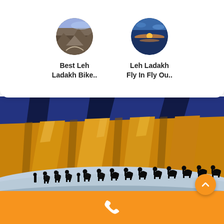[Figure (other): Two circular tour thumbnails: 'Best Leh Ladakh Bike..' and 'Leh Ladakh Fly In Fly Ou..' with mountain/landscape images]
Best Leh Ladakh Bike..
Leh Ladakh Fly In Fly Ou..
[Figure (photo): Panoramic photo of a camel caravan silhouette walking across sand dunes in Nubra Valley, Ladakh, with dramatic golden sunlit mountain cliffs in the background]
Tourists can visit the Nubra Valley even when they plan to visit Leh in February. The only time one cannot visit the place is when th...
[Figure (other): Orange footer bar with a white phone icon]